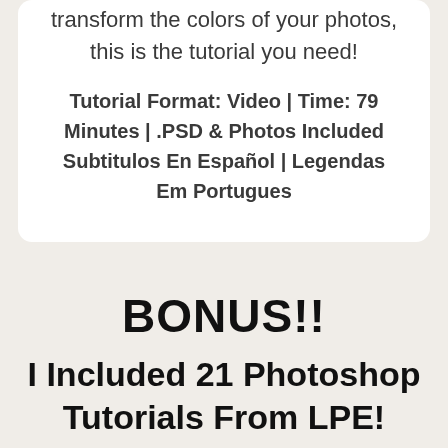transform the colors of your photos, this is the tutorial you need!
Tutorial Format: Video | Time: 79 Minutes | .PSD & Photos Included Subtitulos En Español | Legendas Em Portugues
BONUS!!
I Included 21 Photoshop Tutorials From LPE!